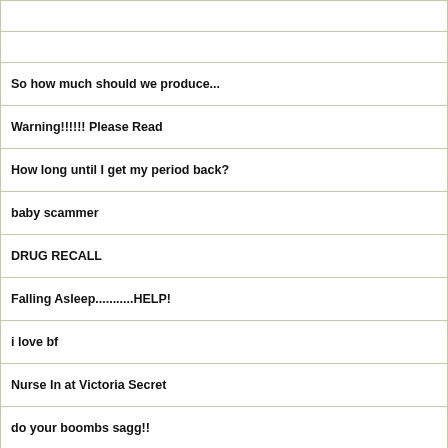|  |
|  |
| So how much should we produce... |
| Warning!!!!!! Please Read |
| How long until I get my period back? |
| baby scammer |
| DRUG RECALL |
| Falling Asleep...........HELP! |
| i love bf |
| Nurse In at Victoria Secret |
| do your boombs sagg!! |
| 13ITCHY13UNNY |
| Still lactating after 10 months of no nursing... |
| I want to stop |
| No Milk!!!!!HELP!!!! |